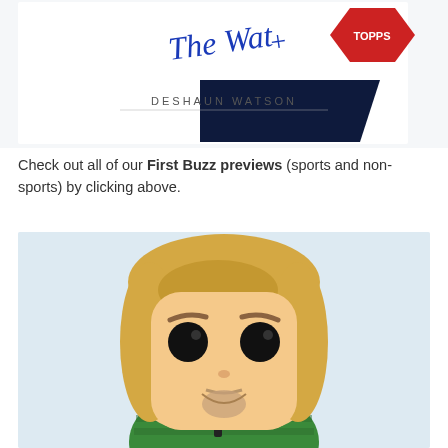[Figure (photo): Deshaun Watson autographed trading card image showing a blue cursive signature over text reading DESHAUN WATSON, with a red Topps/sports card logo element visible in the upper right]
Check out all of our First Buzz previews (sports and non-sports) by clicking above.
[Figure (photo): A Funko Pop vinyl figure of a blonde male character with a goatee wearing a green striped outfit, shown from roughly the waist up against a light blue background]